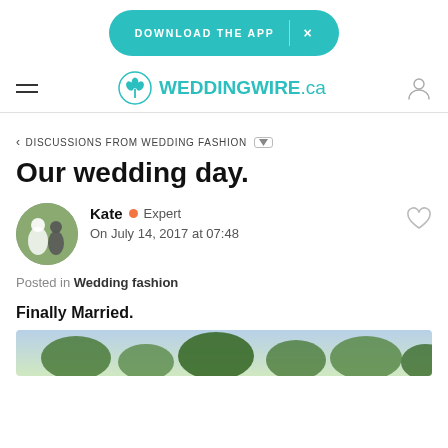DOWNLOAD THE APP  ×
[Figure (logo): WeddingWire.ca logo with teal icon and text]
‹ DISCUSSIONS FROM WEDDING FASHION
Our wedding day.
Kate • Expert
On July 14, 2017 at 07:48
Posted in Wedding fashion
Finally Married.
[Figure (photo): Outdoor wedding photo showing trees and nature]